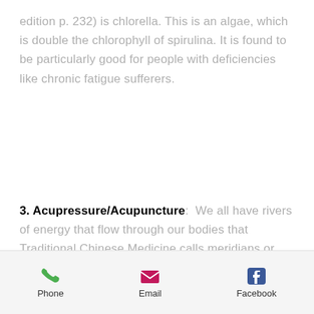edition p. 232) is chlorella. This is an algae, which is double the chlorophyll of spirulina. It is found to be particularly good for people with deficiencies like chronic fatigue sufferers.
3. Acupressure/Acupuncture:  We all have rivers of energy that flow through our bodies that Traditional Chinese Medicine calls meridians or channels. When you have pain, low energy or disease then this would imply that there is a block along the channel, which needs to be cleared. Acupuncture is a wonderful resource to support this revitalization of your energy.
Phone   Email   Facebook